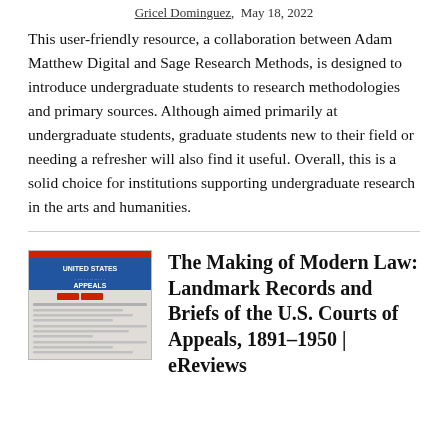Gricel Dominguez,  May 18, 2022
This user-friendly resource, a collaboration between Adam Matthew Digital and Sage Research Methods, is designed to introduce undergraduate students to research methodologies and primary sources. Although aimed primarily at undergraduate students, graduate students new to their field or needing a refresher will also find it useful. Overall, this is a solid choice for institutions supporting undergraduate research in the arts and humanities.
[Figure (illustration): Book cover thumbnail for The Making of Modern Law: Landmark Records and Briefs of the U.S. Courts of Appeals, 1891–1950, showing a blue header with 'UNITED STATES ... APPEALS' text]
The Making of Modern Law: Landmark Records and Briefs of the U.S. Courts of Appeals, 1891–1950 | eReviews